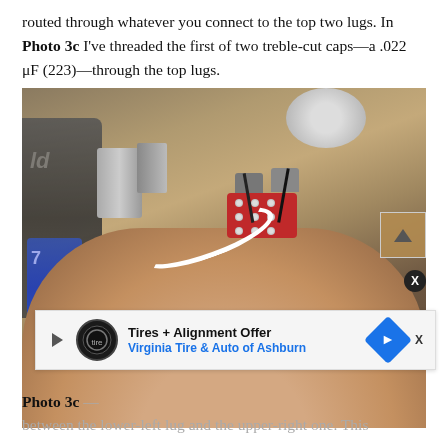routed through whatever you connect to the top two lugs. In Photo 3c I've threaded the first of two treble-cut caps—a .022 μF (223)—through the top lugs.
[Figure (photo): Close-up photo of a hand holding a small red electronic component (switch/selector) with gray capacitors threaded through the top lugs, white wire and black wires visible. Workshop background with various tools and components.]
Photo 3c — [partial text] — between the lower-left lug and the upper-right one. This